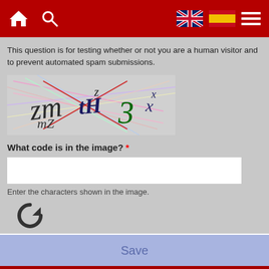[Figure (screenshot): Website navigation bar with home icon, search icon, UK flag, Spanish flag, and hamburger menu on dark red background]
This question is for testing whether or not you are a human visitor and to prevent automated spam submissions.
[Figure (other): CAPTCHA image with distorted characters: zmzH3x with colorful overlapping lines]
What code is in the image? *
Enter the characters shown in the image.
[Figure (other): Refresh/reload icon (circular arrow)]
Save
Latest News
Most read
Most commented